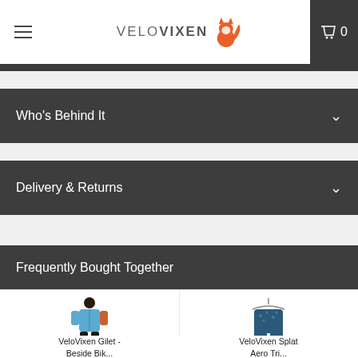VELOVIXEN — navigation header with hamburger menu and cart (0 items)
Who's Behind It
Delivery & Returns
Frequently Bought Together
[Figure (photo): VeloVixen Gilet product photo — woman wearing a blue cycling gilet]
VeloVixen Gilet - Beside Bik...
[Figure (photo): VeloVixen Splat Aero Trisuit product photo — blue trisuit on hanger]
VeloVixen Splat Aero Tri...